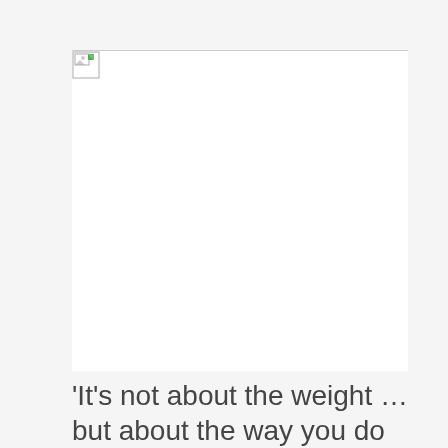[Figure (photo): Broken/missing image placeholder with a small broken image icon in the top-left corner and a horizontal line across the top]
'It's not about the weight … but about the way you do the movement,' she said